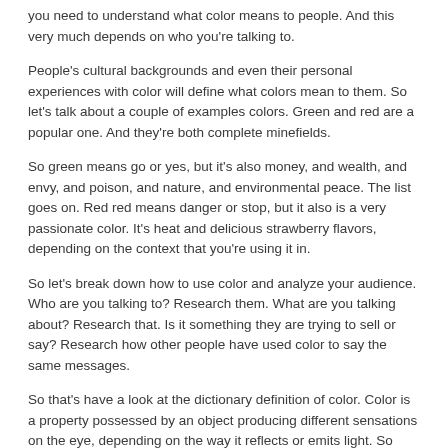you need to understand what color means to people. And this very much depends on who you're talking to.
People's cultural backgrounds and even their personal experiences with color will define what colors mean to them. So let's talk about a couple of examples colors. Green and red are a popular one. And they're both complete minefields.
So green means go or yes, but it's also money, and wealth, and envy, and poison, and nature, and environmental peace. The list goes on. Red red means danger or stop, but it also is a very passionate color. It's heat and delicious strawberry flavors, depending on the context that you're using it in.
So let's break down how to use color and analyze your audience. Who are you talking to? Research them. What are you talking about? Research that. Is it something they are trying to sell or say? Research how other people have used color to say the same messages.
So that's have a look at the dictionary definition of color. Color is a property possessed by an object producing different sensations on the eye, depending on the way it reflects or emits light. So color is a property. It's a possession, a thing, an asset that you take and apply